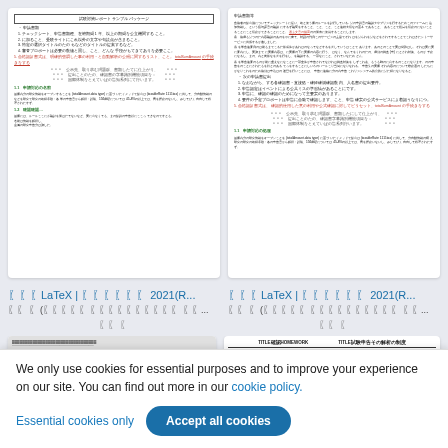[Figure (screenshot): Left document thumbnail: Japanese LaTeX document with green section headers, numbered lists, red text, and centered table of contents block]
[Figure (screenshot): Right document thumbnail: Japanese LaTeX document with similar layout including green section headers, Japanese text paragraphs, red highlighted text]
???LaTeX | ?????? 2021(R...
???LaTeX | ?????? 2021(R...
?? ? (????? ?????????? ??...
?? ? (????? ?????????? ??...
?? ?
?? ?
[Figure (screenshot): Bottom-left partial document thumbnail showing a gray document page]
[Figure (screenshot): Bottom-right partial document thumbnail showing TITLE/HOMEWORK header]
We only use cookies for essential purposes and to improve your experience on our site. You can find out more in our cookie policy.
Essential cookies only
Accept all cookies